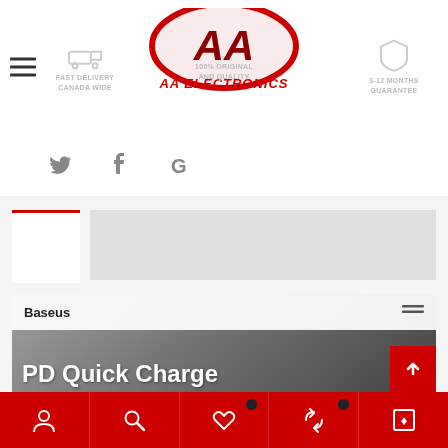[Figure (logo): AA Electronics logo with red oval emblem, 'AA' stylized letters, and 'AA ELECTRONICS' text in red/orange gradient. Header includes icons for Fast Delivery Canada Wide, 100% Original and Quality, and 3-12 Months Guarantee. Hamburger menu icon on left.]
[Figure (screenshot): Social media share bar with Twitter bird icon, Facebook 'f' icon, and Google 'G' icon in grey.]
[Figure (screenshot): Product page content area showing a loading placeholder card with red top border, a grey placeholder rectangle, and a Baseus product image section with 'PD Quick Charge' text visible, a scroll-to-top red button with up arrow.]
[Figure (screenshot): Bottom navigation bar in red with 5 icons: person/account, search/magnifying glass, heart/wishlist (with black badge), refresh/compare (with black badge), and Canadian flag icon.]